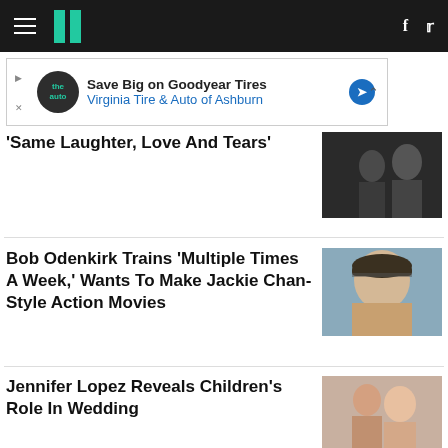HuffPost navigation bar with logo, hamburger menu, Facebook and Twitter icons
[Figure (other): Advertisement banner: Save Big on Goodyear Tires - Virginia Tire & Auto of Ashburn]
'Same Laughter, Love And Tears'
Bob Odenkirk Trains 'Multiple Times A Week,' Wants To Make Jackie Chan-Style Action Movies
Jennifer Lopez Reveals Children's Role In Wedding